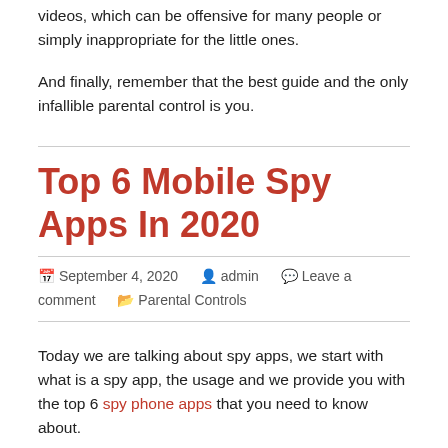videos, which can be offensive for many people or simply inappropriate for the little ones.
And finally, remember that the best guide and the only infallible parental control is you.
Top 6 Mobile Spy Apps In 2020
September 4, 2020   admin   Leave a comment   Parental Controls
Today we are talking about spy apps, we start with what is a spy app, the usage and we provide you with the top 6 spy phone apps that you need to know about.